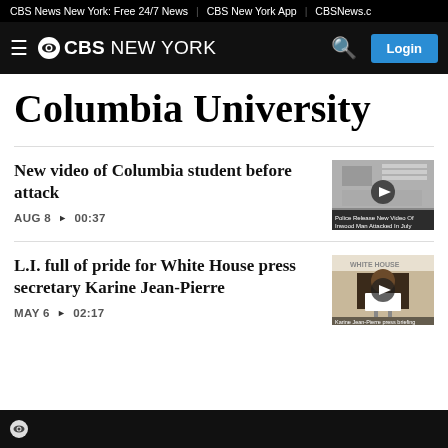CBS News New York: Free 24/7 News | CBS New York App | CBSNews.c
CBS NEW YORK — Login
Columbia University
New video of Columbia student before attack
AUG 8  ▶  00:37
[Figure (screenshot): Video thumbnail showing security camera footage of a hallway. Caption reads: Police Release New Video Of Inwood Man Attacked In July]
L.I. full of pride for White House press secretary Karine Jean-Pierre
MAY 6  ▶  02:17
[Figure (screenshot): Video thumbnail showing a woman (Karine Jean-Pierre) at a podium with WHITE HOUSE visible in background]